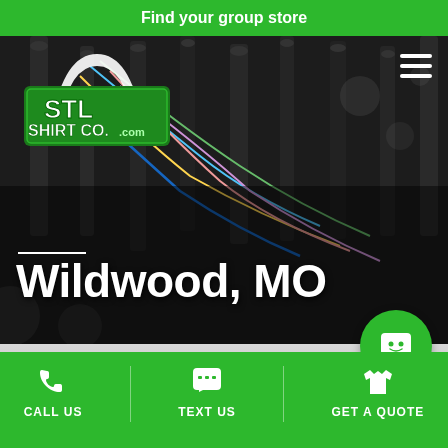Find your group store
[Figure (screenshot): STL Shirt Co. logo with green arch design on dark background with industrial printing machine/wires in background]
Wildwood, MO
[Figure (infographic): Gray/light section with green circular chat button icon]
CALL US | TEXT US | GET A QUOTE